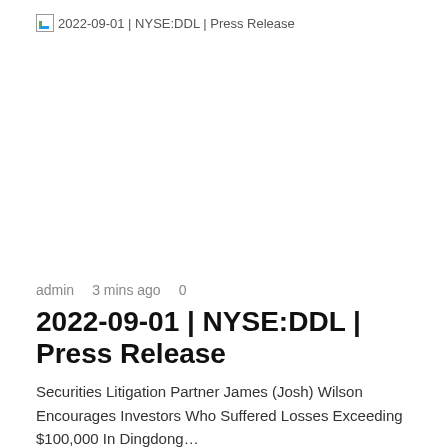[Figure (other): Broken image placeholder labeled '2022-09-01 | NYSE:DDL | Press Release']
Investment
admin   3 mins ago   0
2022-09-01 | NYSE:DDL | Press Release
Securities Litigation Partner James (Josh) Wilson Encourages Investors Who Suffered Losses Exceeding $100,000 In Dingdong…
Read More »
[Figure (other): Broken image placeholder labeled 'The supermarket is']
14 mins ago
The supermarket is making a £10.0m